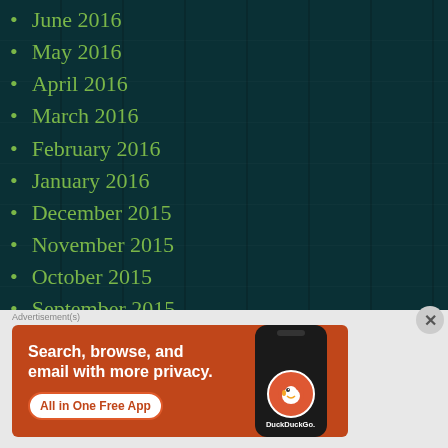June 2016
May 2016
April 2016
March 2016
February 2016
January 2016
December 2015
November 2015
October 2015
September 2015
August 2015
[Figure (screenshot): DuckDuckGo advertisement banner with orange background showing 'Search, browse, and email with more privacy. All in One Free App' with phone mockup displaying DuckDuckGo logo]